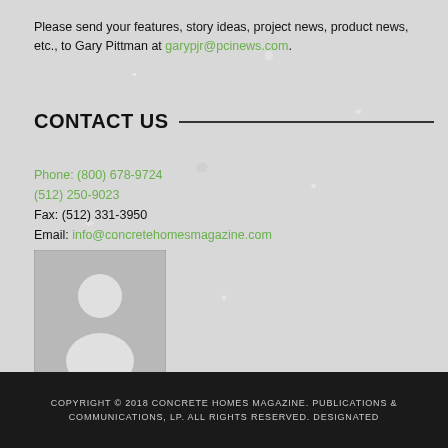Please send your features, story ideas, project news, product news, etc., to Gary Pittman at garypjr@pcinews.com.
CONTACT US
Phone: (800) 678-9724
(512) 250-9023
Fax: (512) 331-3950
Email: info@concretehomesmagazine.com
[Figure (illustration): Placeholder avatar silhouette image of a person on a grey background]
COPYRIGHT © 2018 CONCRETE HOMES MAGAZINE. PUBLICATIONS & COMMUNICATIONS, LP. ALL RIGHTS RESERVED. DESIGNATED